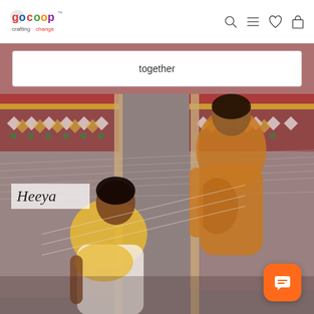GoCoop - crafting change [logo] [search icon] [menu icon] [heart icon] [bag icon]
together
[Figure (photo): Two Indian women working at a traditional loom with colorful patterned fabric in the background. A label reading 'Heeya' in italic text overlays the image. A chat button (orange rounded square) is visible in the bottom right corner.]